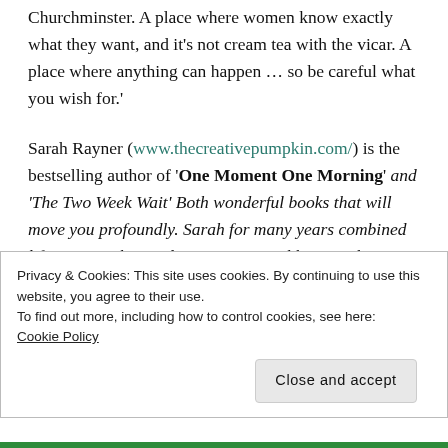Churchminster. A place where women know exactly what they want, and it's not cream tea with the vicar. A place where anything can happen … so be careful what you wish for.'
Sarah Rayner (www.thecreativepumpkin.com/) is the bestselling author of 'One Moment One Morning' and 'The Two Week Wait' Both wonderful books that will move you profoundly. Sarah for many years combined life as an author and copywriter until her novel 'One Moment One Morning' enabled her to write full time
Privacy & Cookies: This site uses cookies. By continuing to use this website, you agree to their use. To find out more, including how to control cookies, see here: Cookie Policy
Close and accept